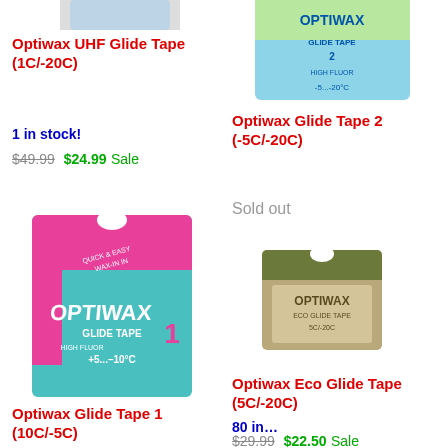[Figure (photo): Optiwax UHF Glide Tape product box (partially shown at top-left)]
Optiwax UHF Glide Tape (1C/-20C)
1 in stock!
$49.99  $24.99 Sale
[Figure (photo): Optiwax Glide Tape 1 (+5...-10C) product box, pink and teal]
Optiwax Glide Tape 1 (10C/-5C)
[Figure (photo): Optiwax Glide Tape 2 (-5C/-20C) product box, green and blue (partially shown at top-right)]
Optiwax Glide Tape 2 (-5C/-20C)
Sold out
[Figure (photo): Optiwax Eco Glide Tape (5C/-20C) product box, olive/brown]
Optiwax Eco Glide Tape (5C/-20C)
80 in stock
$29.99  $22.50 Sale